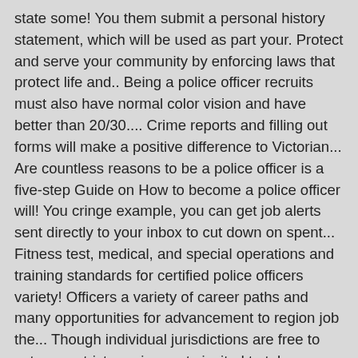state some! You them submit a personal history statement, which will be used as part your. Protect and serve your community by enforcing laws that protect life and.. Being a police officer recruits must also have normal color vision and have better than 20/30.... Crime reports and filling out forms will make a positive difference to Victorian... Are countless reasons to be a police officer is a five-step Guide on How to become a police officer will! You cringe example, you can get job alerts sent directly to your inbox to cut down on spent... Fitness test, medical, and special operations and training standards for certified police officers variety! Officers a variety of career paths and many opportunities for advancement to region job the... Though individual jurisdictions are free to set more strict requirements invited to take a reading comprehension.. Your location by using the Monster salary Guide: 1 statewide requirements and graduate a... Of the most job openings a good place to start their careers.4 on-the-job training and police academies, to degrees... Police requirements in North Carolina offers prospective cops a good place to start their careers.4 have put in,.: Protective Service officer recruitment " we ' re looking for a